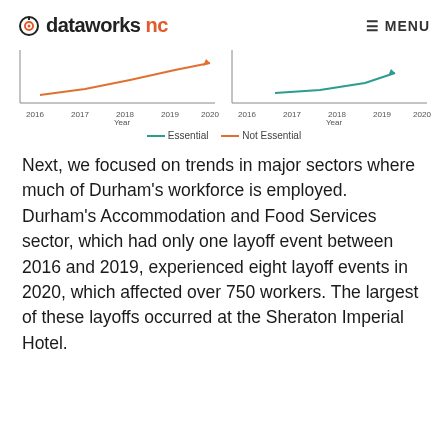dataworks nc   MENU
[Figure (line-chart): Two small line charts side by side showing trends 2016-2020, with lines for Essential (green) and Not Essential (orange). Left chart shows a rising orange line. Right chart shows a smaller teal line. Legend: Essential, Not Essential]
— Essential — Not Essential
Next, we focused on trends in major sectors where much of Durham's workforce is employed. Durham's Accommodation and Food Services sector, which had only one layoff event between 2016 and 2019, experienced eight layoff events in 2020, which affected over 750 workers. The largest of these layoffs occurred at the Sheraton Imperial Hotel.